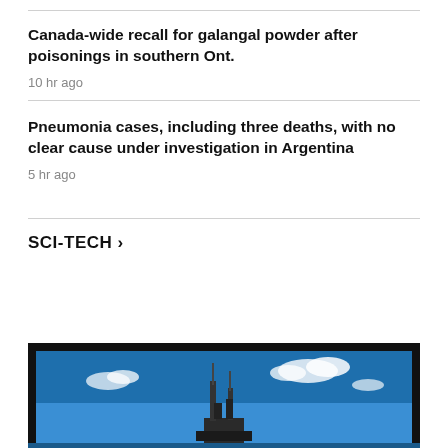Canada-wide recall for galangal powder after poisonings in southern Ont.
10 hr ago
Pneumonia cases, including three deaths, with no clear cause under investigation in Argentina
5 hr ago
SCI-TECH >
[Figure (photo): A photograph showing what appears to be a rocket or spacecraft on a launch pad, viewed through a dark-framed screen or monitor. The background shows a blue sky with white clouds.]